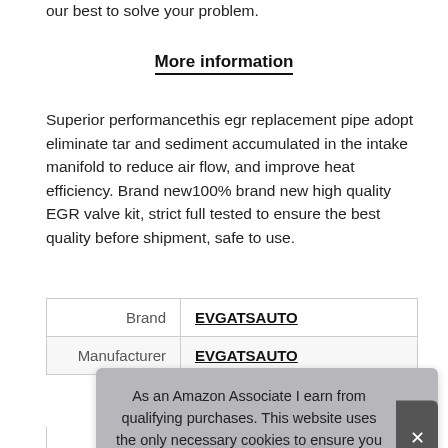our best to solve your problem.
More information
Superior performancethis egr replacement pipe adopt eliminate tar and sediment accumulated in the intake manifold to reduce air flow, and improve heat efficiency. Brand new100% brand new high quality EGR valve kit, strict full tested to ensure the best quality before shipment, safe to use.
|  |  |
| --- | --- |
| Brand | EVGATSAUTO |
| Manufacturer | EVGATSAUTO |
As an Amazon Associate I earn from qualifying purchases. This website uses the only necessary cookies to ensure you get the best experience on our website. More information
|  |  |
| --- | --- |
| Width | 10 cm (3.94 Inches) |